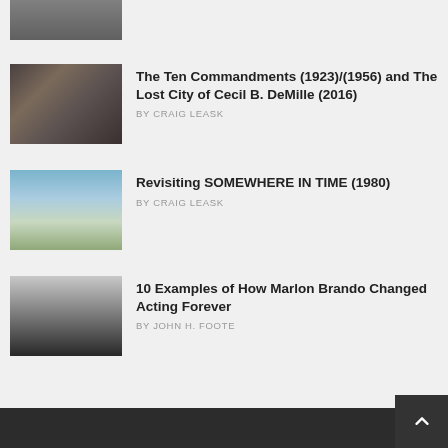[Figure (photo): Partial thumbnail image at top, cropped]
The Ten Commandments (1923)/(1956) and The Lost City of Cecil B. DeMille (2016)
BY CRAIG LEASK
Revisiting SOMEWHERE IN TIME (1980)
BY CRAIG LEASK
10 Examples of How Marlon Brando Changed Acting Forever
BY JOHN H. FOOTE